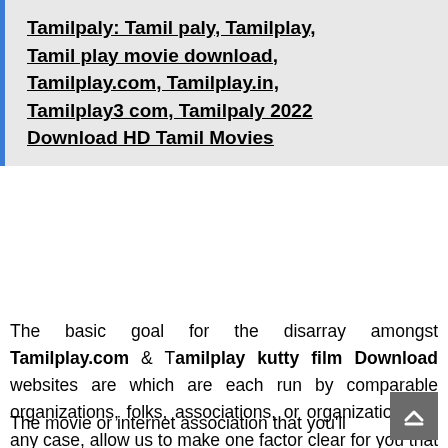Tamilpaly: Tamil paly, Tamilplay, Tamil play movie download, Tamilplay.com, Tamilplay.in, Tamilplay3 com, Tamilpaly 2022 Download HD Tamil Movies
The basic goal for the disarray amongst Tamilplay.com & Tamilplay kutty film Download websites are which are each run by comparable organizations, folks, associations, or organizations. In any case, allow us to make one factor clear for you that each the websites, Tamilplay is varied websites which have comparative media content material, new Tamil film Download .
The movie or internet association that you'll